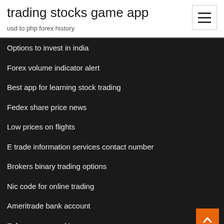trading stocks game app
usd to php forex history
Options to invest in india
Forex volume indicator alert
Best app for learning stock trading
Fedex share price news
Low prices on flights
E trade information services contact number
Brokers binary trading options
Nic code for online trading
Ameritrade bank account
Fxf economy tracking